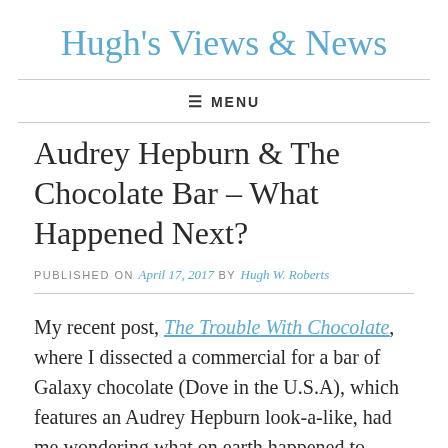Hugh's Views & News
Audrey Hepburn & The Chocolate Bar – What Happened Next?
PUBLISHED ON April 17, 2017 by Hugh W. Roberts
My recent post, The Trouble With Chocolate, where I dissected a commercial for a bar of Galaxy chocolate (Dove in the U.S.A), which features an Audrey Hepburn look-a-like, had me wondering what on earth happened to Audrey after she got in that strange man's car.